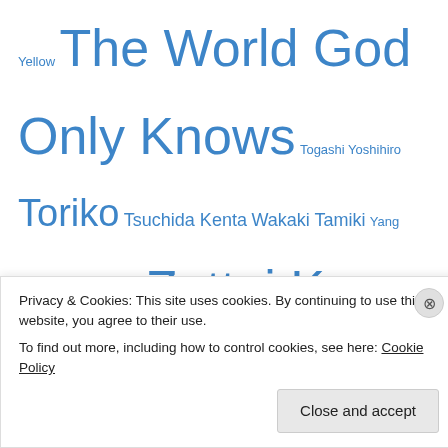Yellow The World God Only Knows Togashi Yoshihiro Toriko Tsuchida Kenta Wakaki Tamiki Yang Kyung-il Youn In-wan Zettai Karen Children
Categories
Articles (14)
Conventions (3)
Jump SQ (2)
Podcast (30)
Power Rankings (47)
Privacy & Cookies: This site uses cookies. By continuing to use this website, you agree to their use. To find out more, including how to control cookies, see here: Cookie Policy
Close and accept